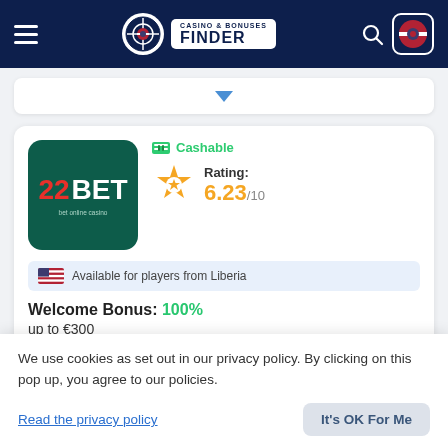Casino & Bonuses Finder — navigation header
[Figure (screenshot): Dropdown selector bar with blue triangle arrow]
[Figure (logo): 22BET casino logo on dark teal background]
Cashable
Rating: 6.23/10
Available for players from Liberia
Welcome Bonus: 100% up to €300
We use cookies as set out in our privacy policy. By clicking on this pop up, you agree to our policies.
Read the privacy policy
It's OK For Me